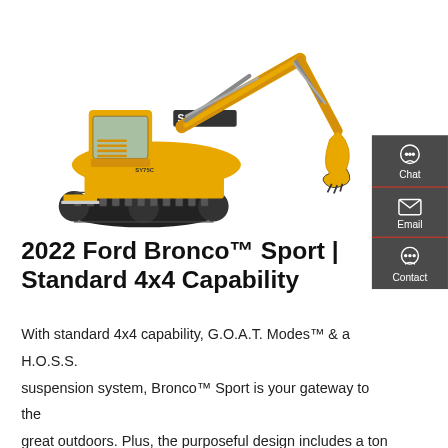[Figure (photo): Yellow SANY excavator with extended arm and bucket, shown on white background]
[Figure (infographic): Dark gray sidebar with three contact icons: Chat (headset icon), Email (envelope icon), Contact (speech bubble icon), separated by red lines]
2022 Ford Bronco™ Sport | Standard 4x4 Capability
With standard 4x4 capability, G.O.A.T. Modes™ & a H.O.S.S. suspension system, Bronco™ Sport is your gateway to the great outdoors. Plus, the purposeful design includes a ton of interior space thanks to the roomy architecture of the safari-